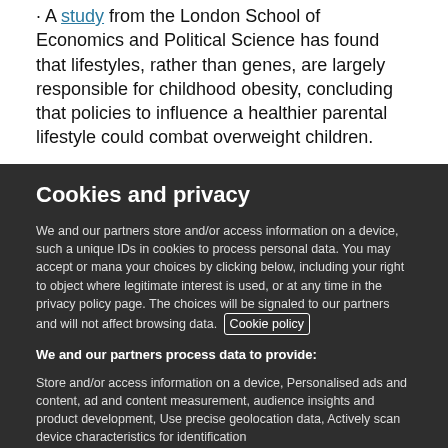A study from the London School of Economics and Political Science has found that lifestyles, rather than genes, are largely responsible for childhood obesity, concluding that policies to influence a healthier parental lifestyle could combat overweight children.
Cookies and privacy
We and our partners store and/or access information on a device, such as unique IDs in cookies to process personal data. You may accept or manage your choices by clicking below, including your right to object where legitimate interest is used, or at any time in the privacy policy page. These choices will be signaled to our partners and will not affect browsing data. Cookie policy
We and our partners process data to provide:
Store and/or access information on a device, Personalised ads and content, ad and content measurement, audience insights and product development, Use precise geolocation data, Actively scan device characteristics for identification
List of Partners (vendors)